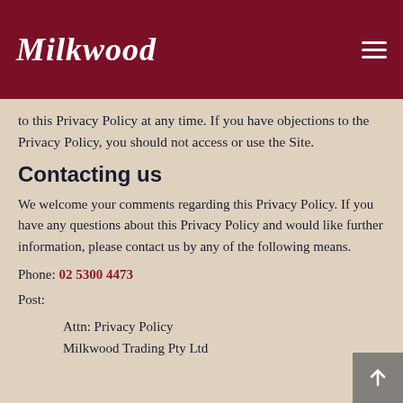Milkwood
to this Privacy Policy at any time. If you have objections to the Privacy Policy, you should not access or use the Site.
Contacting us
We welcome your comments regarding this Privacy Policy. If you have any questions about this Privacy Policy and would like further information, please contact us by any of the following means.
Phone: 02 5300 4473
Post:
Attn: Privacy Policy
Milkwood Trading Pty Ltd